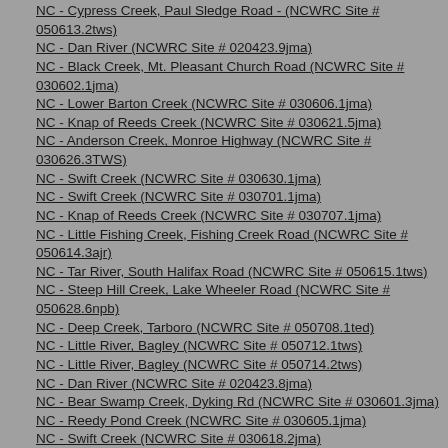NC - Cypress Creek, Paul Sledge Road - (NCWRC Site # 050613.2tws)
NC - Dan River (NCWRC Site # 020423.9jma)
NC - Black Creek, Mt. Pleasant Church Road (NCWRC Site # 030602.1jma)
NC - Lower Barton Creek (NCWRC Site # 030606.1jma)
NC - Knap of Reeds Creek (NCWRC Site # 030621.5jma)
NC - Anderson Creek, Monroe Highway (NCWRC Site # 030626.3TWS)
NC - Swift Creek (NCWRC Site # 030630.1jma)
NC - Swift Creek (NCWRC Site # 030701.1jma)
NC - Knap of Reeds Creek (NCWRC Site # 030707.1jma)
NC - Little Fishing Creek, Fishing Creek Road (NCWRC Site # 050614.3ajr)
NC - Tar River, South Halifax Road (NCWRC Site # 050615.1tws)
NC - Steep Hill Creek, Lake Wheeler Road (NCWRC Site # 050628.6npb)
NC - Deep Creek, Tarboro (NCWRC Site # 050708.1ted)
NC - Little River, Bagley (NCWRC Site # 050712.1tws)
NC - Little River, Bagley (NCWRC Site # 050714.2tws)
NC - Dan River (NCWRC Site # 020423.8jma)
NC - Bear Swamp Creek, Dyking Rd (NCWRC Site # 030601.3jma)
NC - Reedy Pond Creek (NCWRC Site # 030605.1jma)
NC - Swift Creek (NCWRC Site # 030618.2jma)
NC - Dutch Buffalo Creek, Gold Hill Road (NCWRC Site # 030626.2TWS)